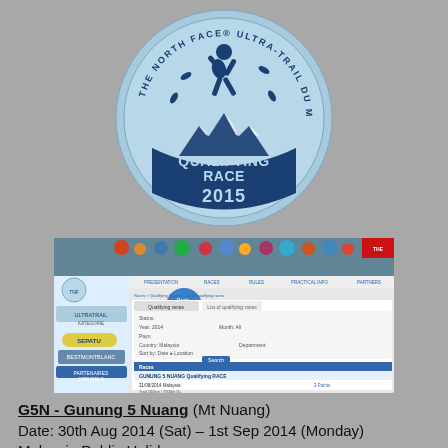[Figure (logo): The North Face Ultra-Trail Du Mont-Blanc Qualifying Race 2015 circular logo with runner silhouette and mountain graphic]
[Figure (screenshot): Screenshot of The North Face Ultra-Trail Du Mont-Blanc website showing qualifying races list with Malaysia filter and G5N listing dated 31/08/2014]
G5N - Gunung 5 Nuang (Mt Nuang)
Date: 30th Aug 2014 (Sat) – 1st Sep 2014 (Monday)
Malaysia Public Holiday